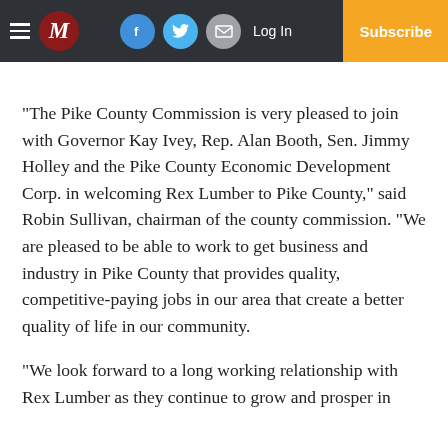M | Log In | Subscribe
“The Pike County Commission is very pleased to join with Governor Kay Ivey, Rep. Alan Booth, Sen. Jimmy Holley and the Pike County Economic Development Corp. in welcoming Rex Lumber to Pike County,” said Robin Sullivan, chairman of the county commission. “We are pleased to be able to work to get business and industry in Pike County that provides quality, competitive-paying jobs in our area that create a better quality of life in our community.
“We look forward to a long working relationship with Rex Lumber as they continue to grow and prosper in